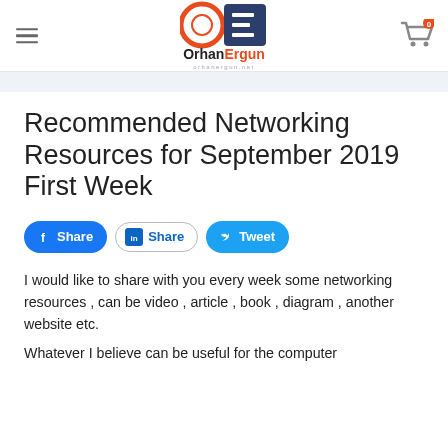Orhan Ergun — orhanergun.net
Recommended Networking Resources for September 2019 First Week
[Figure (infographic): Social share buttons: Facebook Share, LinkedIn Share, Twitter Tweet]
I would like to share with you every week some networking resources , can be video , article , book , diagram , another website etc.
Whatever I believe can be useful for the computer...